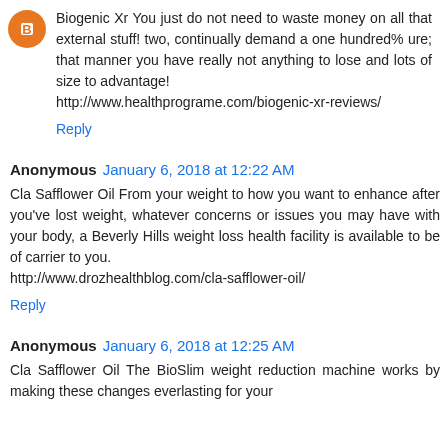Biogenic Xr You just do not need to waste money on all that external stuff! two, continually demand a one hundred% ure; that manner you have really not anything to lose and lots of size to advantage!
http://www.healthprograme.com/biogenic-xr-reviews/
Reply
Anonymous January 6, 2018 at 12:22 AM
Cla Safflower Oil From your weight to how you want to enhance after you've lost weight, whatever concerns or issues you may have with your body, a Beverly Hills weight loss health facility is available to be of carrier to you.
http://www.drozhealthblog.com/cla-safflower-oil/
Reply
Anonymous January 6, 2018 at 12:25 AM
Cla Safflower Oil The BioSlim weight reduction machine works by making these changes everlasting for your